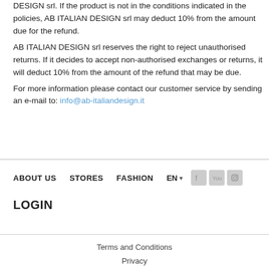DESIGN srl. If the product is not in the conditions indicated in the policies, AB ITALIAN DESIGN srl may deduct 10% from the amount due for the refund.
AB ITALIAN DESIGN srl reserves the right to reject unauthorised returns. If it decides to accept non-authorised exchanges or returns, it will deduct 10% from the amount of the refund that may be due.
For more information please contact our customer service by sending an e-mail to: info@ab-italiandesign.it
ABOUT US   STORES   FASHION   EN   [social icons]
LOGIN
Terms and Conditions
Privacy